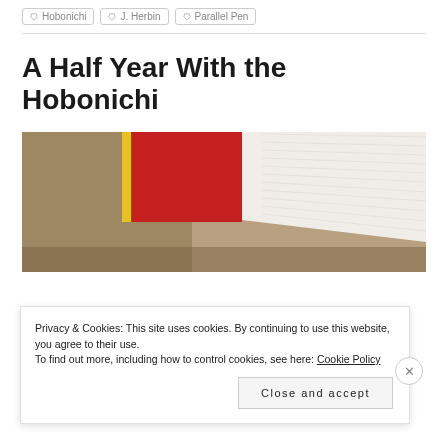Hobonichi
J. Herbin
Parallel Pen
A Half Year With the Hobonichi
[Figure (photo): Open Hobonichi planner/notebook with red cover and white pages fanned out, photographed on a warm neutral background]
Privacy & Cookies: This site uses cookies. By continuing to use this website, you agree to their use. To find out more, including how to control cookies, see here: Cookie Policy
Close and accept